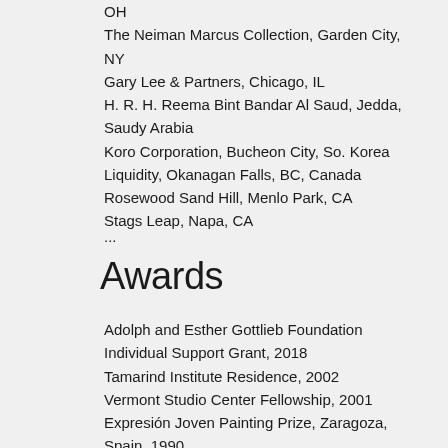OH
The Neiman Marcus Collection, Garden City, NY
Gary Lee & Partners, Chicago, IL
H. R. H. Reema Bint Bandar Al Saud, Jedda, Saudy Arabia
Koro Corporation, Bucheon City, So. Korea
Liquidity, Okanagan Falls, BC, Canada
Rosewood Sand Hill, Menlo Park, CA
Stags Leap, Napa, CA
...
Awards
Adolph and Esther Gottlieb Foundation Individual Support Grant, 2018
Tamarind Institute Residence, 2002
Vermont Studio Center Fellowship, 2001
Expresión Joven Painting Prize, Zaragoza, Spain, 1990